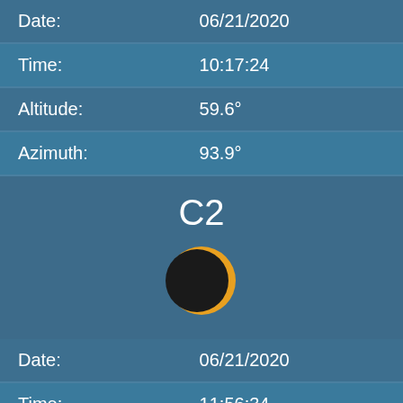| Date: | 06/21/2020 |
| Time: | 10:17:24 |
| Altitude: | 59.6° |
| Azimuth: | 93.9° |
C2
[Figure (illustration): Eclipse illustration showing a nearly fully eclipsed sun — a dark circular moon disc with a thin orange/yellow crescent visible on the right side]
| Date: | 06/21/2020 |
| Time: | 11:56:34 |
| Altitude: | 80.1° |
| Azimuth: | 127.2° |